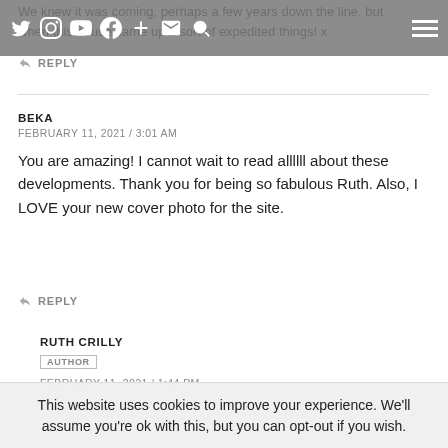Navigation bar with social icons and hamburger menu
We knew it was coming, perhaps a few years down the line, but when this house came up it sort of expedited things! x
REPLY
BEKA
FEBRUARY 11, 2021 / 3:01 AM
You are amazing! I cannot wait to read allllll about these developments. Thank you for being so fabulous Ruth. Also, I LOVE your new cover photo for the site.
REPLY
RUTH CRILLY
AUTHOR
FEBRUARY 11, 2021 / 1:44 PM
This website uses cookies to improve your experience. We'll assume you're ok with this, but you can opt-out if you wish.